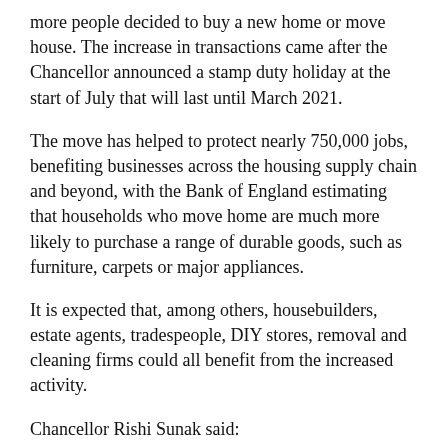more people decided to buy a new home or move house. The increase in transactions came after the Chancellor announced a stamp duty holiday at the start of July that will last until March 2021.
The move has helped to protect nearly 750,000 jobs, benefiting businesses across the housing supply chain and beyond, with the Bank of England estimating that households who move home are much more likely to purchase a range of durable goods, such as furniture, carpets or major appliances.
It is expected that, among others, housebuilders, estate agents, tradespeople, DIY stores, removal and cleaning firms could all benefit from the increased activity.
Chancellor Rishi Sunak said:
'Every home sold means more jobs protected – helping us to deliver on our Plan for Jobs.
'But this isn't just about the housing market. Owners